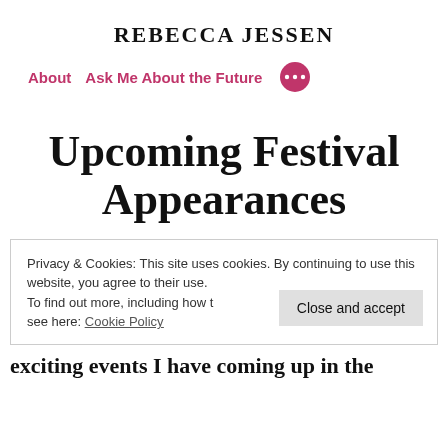REBECCA JESSEN
About   Ask Me About the Future   •••
Upcoming Festival Appearances
Privacy & Cookies: This site uses cookies. By continuing to use this website, you agree to their use.
To find out more, including how to control cookies, see here: Cookie Policy
Close and accept
exciting events I have coming up in the